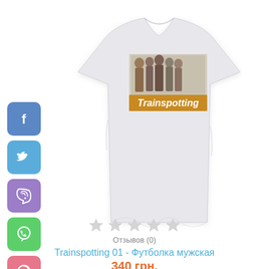[Figure (photo): White t-shirt with Trainspotting movie print showing group of people in black and white with orange Trainspotting banner text]
[Figure (infographic): Social media sharing buttons: Facebook (blue), Twitter (light blue), Viber (purple), WhatsApp (green), Pinterest (pink)]
[Figure (other): Five empty grey star rating icons]
Отзывов (0)
Trainspotting 01 - Футболка мужская
340 грн.